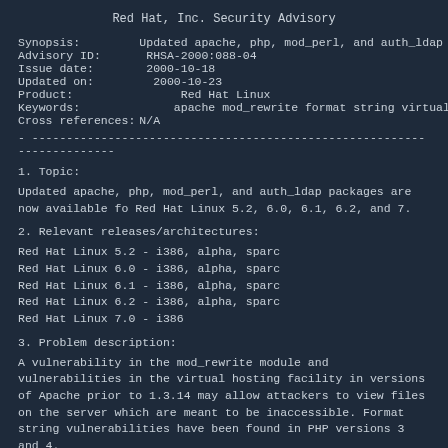Red Hat, Inc. Security Advisory
| Synopsis: | Updated apache, php, mod_perl, and auth_ldap packages ava |
| Advisory ID: | RHSA-2000:088-04 |
| Issue date: | 2000-10-18 |
| Updated on: | 2000-10-23 |
| Product: | Red Hat Linux |
| Keywords: | apache mod_rewrite format string virtual host |
| Cross references: | N/A |
- -----------------------------------------------------------------------
1. Topic:
Updated apache, php, mod_perl, and auth_ldap packages are now available fo Red Hat Linux 5.2, 6.0, 6.1, 6.2, and 7.
2. Relevant releases/architectures:
Red Hat Linux 5.2 - i386, alpha, sparc
Red Hat Linux 6.0 - i386, alpha, sparc
Red Hat Linux 6.1 - i386, alpha, sparc
Red Hat Linux 6.2 - i386, alpha, sparc
Red Hat Linux 7.0 - i386
3. Problem description:
A vulnerability in the mod_rewrite module and vulnerabilities in the virtual hosting facility in versions of Apache prior to 1.3.14 may allow attackers to view files on the server which are meant to be inaccessible. Format string vulnerabilities have been found in PHP versions 3 and 4.
Because upgrading to Apache 1.3.14 creates binary incompatibilities with